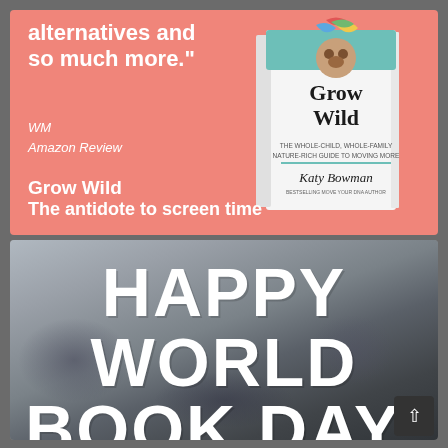[Figure (photo): Salmon/coral-colored promotional image for the book 'Grow Wild' by Katy Bowman. Left side shows a quote text 'alternatives and so much more.' attributed to WM, Amazon Review, and book subtitle 'Grow Wild - The antidote to screen time'. Right side shows a 3D book cover image of 'Grow Wild' with colorful design.]
[Figure (photo): Blurred background image of people in a library or bookstore with large white bold text overlaid reading 'HAPPY WORLD BOOK DAY'. A dark scroll-to-top arrow button is in the bottom-right corner.]